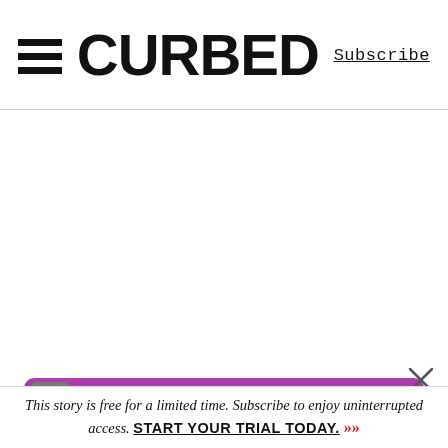CURBED | Subscribe
[Figure (other): Purple advertisement banner strip at bottom of page with AD label badge]
This story is free for a limited time. Subscribe to enjoy uninterrupted access. START YOUR TRIAL TODAY. ▶▶